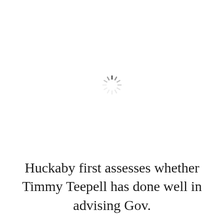[Figure (other): A loading spinner icon (circular dashed spinner) centered in the upper portion of the page]
Huckaby first assesses whether Timmy Teepell has done well in advising Gov.